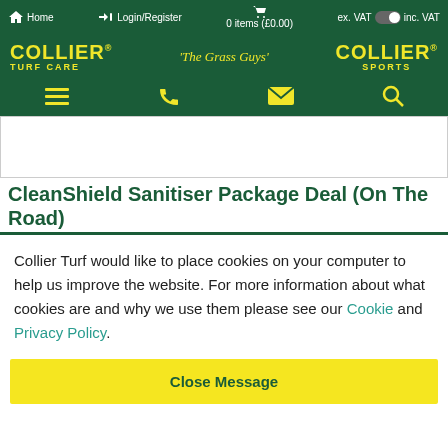Home  Login/Register  0 items (£0.00)  ex. VAT  inc. VAT
[Figure (logo): Collier Turf Care logo with tagline 'The Grass Guys' and Collier Sports logo on dark green background]
[Figure (screenshot): Product image area (white box)]
CleanShield Sanitiser Package Deal (On The Road)
Collier Turf would like to place cookies on your computer to help us improve the website. For more information about what cookies are and why we use them please see our Cookie and Privacy Policy.
Close Message